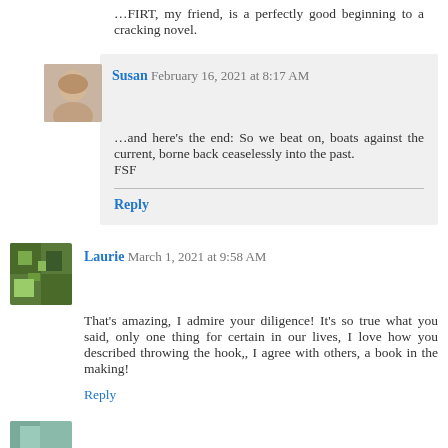...FIRT, my friend, is a perfectly good beginning to a cracking novel.
Susan  February 16, 2021 at 8:17 AM
...and here's the end: So we beat on, boats against the current, borne back ceaselessly into the past.
FSF
Reply
Laurie  March 1, 2021 at 9:58 AM
That's amazing, I admire your diligence! It's so true what you said, only one thing for certain in our lives, I love how you described throwing the hook,, I agree with others, a book in the making!
Reply